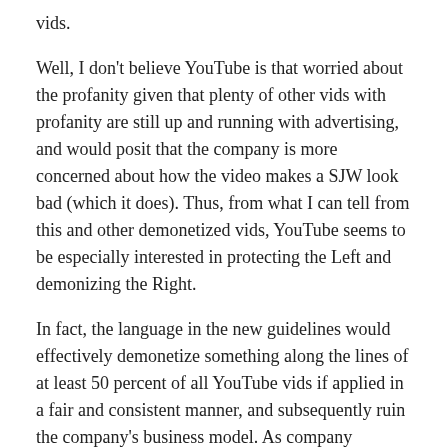vids.
Well, I don't believe YouTube is that worried about the profanity given that plenty of other vids with profanity are still up and running with advertising, and would posit that the company is more concerned about how the video makes a SJW look bad (which it does). Thus, from what I can tell from this and other demonetized vids, YouTube seems to be especially interested in protecting the Left and demonizing the Right.
In fact, the language in the new guidelines would effectively demonetize something along the lines of at least 50 percent of all YouTube vids if applied in a fair and consistent manner, and subsequently ruin the company's business model. As company officials can't be that stupid, they're obviously up to something else....
Can you spell: “selective censorship?”